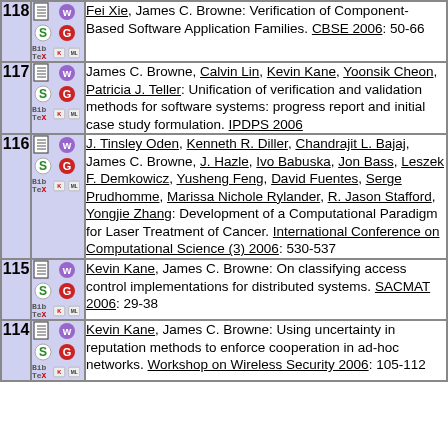| # | Icons | Reference |
| --- | --- | --- |
| 118 | [icons] | Fei Xie, James C. Browne: Verification of Component-Based Software Application Families. CBSE 2006: 50-66 |
| 117 | [icons] | James C. Browne, Calvin Lin, Kevin Kane, Yoonsik Cheon, Patricia J. Teller: Unification of verification and validation methods for software systems: progress report and initial case study formulation. IPDPS 2006 |
| 116 | [icons] | J. Tinsley Oden, Kenneth R. Diller, Chandrajit L. Bajaj, James C. Browne, J. Hazle, Ivo Babuska, Jon Bass, Leszek F. Demkowicz, Yusheng Feng, David Fuentes, Serge Prudhomme, Marissa Nichole Rylander, R. Jason Stafford, Yongjie Zhang: Development of a Computational Paradigm for Laser Treatment of Cancer. International Conference on Computational Science (3) 2006: 530-537 |
| 115 | [icons] | Kevin Kane, James C. Browne: On classifying access control implementations for distributed systems. SACMAT 2006: 29-38 |
| 114 | [icons] | Kevin Kane, James C. Browne: Using uncertainty in reputation methods to enforce cooperation in ad-hoc networks. Workshop on Wireless Security 2006: 105-112 |